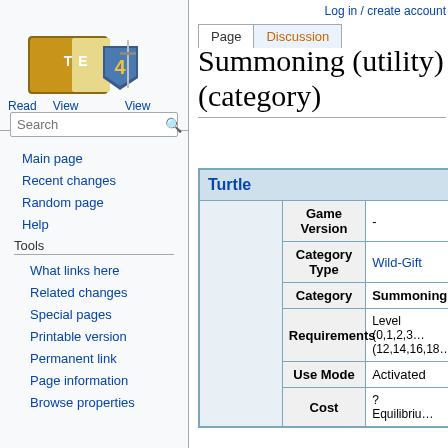Log in / create account
Page | Discussion
Read | View source | View history
[Figure (logo): Tales of Maj'Eyal (TE4) wiki logo — a brown book with a shield and the letters T, E, 4]
Search
Main page
Recent changes
Random page
Help
Tools
What links here
Related changes
Special pages
Printable version
Permanent link
Page information
Browse properties
Summoning (utility) (category)
|  | Game Version | - |
| --- | --- | --- |
|  | Category Type | Wild-Gift |
|  | Category | Summoning |
|  | Requirements | Level (0,1,2,3... (12,14,16,18... |
|  | Use Mode | Activated |
|  | Cost | ? Equilibrium... |